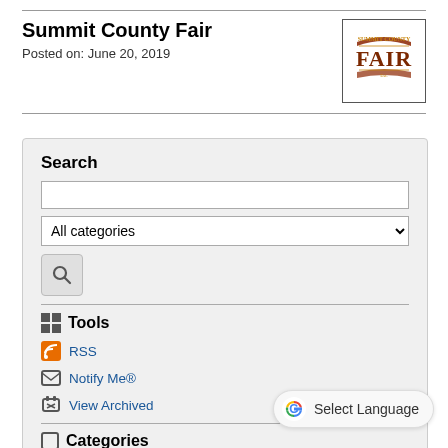Summit County Fair
Posted on: June 20, 2019
[Figure (logo): Summit County Fair logo with 'FAIR' text in brown/gold decorative style]
Search
All categories (dropdown)
Tools
RSS
Notify Me®
View Archived
Categories
All Categories
Spotlight
[Figure (other): Google Translate button with Google G logo and 'Select Language' text]